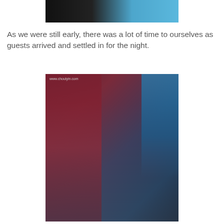[Figure (photo): Partial photo at top of page showing two people, one in black clothing and one in blue, cropped]
As we were still early, there was a lot of time to ourselves as guests arrived and settled in for the night.
[Figure (photo): Photo of a man and woman posing together at a nightclub/lounge. The man is wearing a grey turtleneck sweater. The woman is wearing a blue dress and holding a decorated bottle. Watermark reads www.choulyin.com]